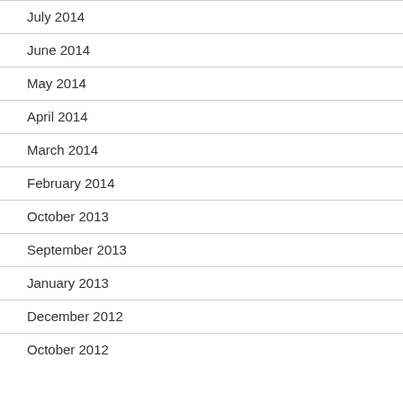July 2014
June 2014
May 2014
April 2014
March 2014
February 2014
October 2013
September 2013
January 2013
December 2012
October 2012